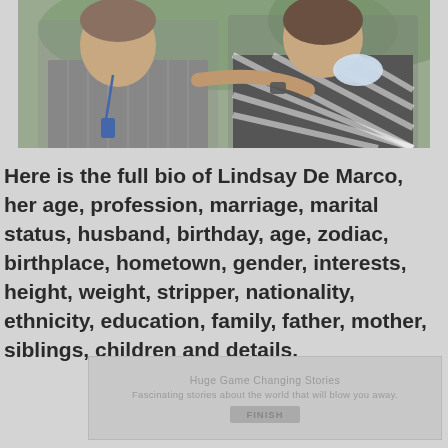[Figure (photo): Photo of two people, a man on the left wearing a gray striped shirt with a lanyard/badge, and a woman on the right wearing a black and white striped top with a name badge. They appear to be outdoors.]
Here is the full bio of Lindsay De Marco, her age, profession, marriage, marital status, husband, birthday, age, zodiac, birthplace, hometown, gender, interests, height, weight, stripper, nationality, ethnicity, education, family, father, mother, siblings, children and details.